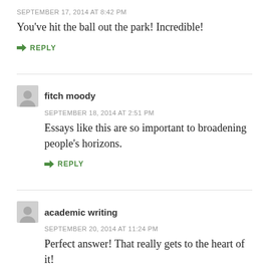SEPTEMBER 17, 2014 AT 8:42 PM
You’ve hit the ball out the park! Incredible!
REPLY
fitch moody
SEPTEMBER 18, 2014 AT 2:51 PM
Essays like this are so important to broadening people’s horizons.
REPLY
academic writing
SEPTEMBER 20, 2014 AT 11:24 PM
Perfect answer! That really gets to the heart of it!
REPLY